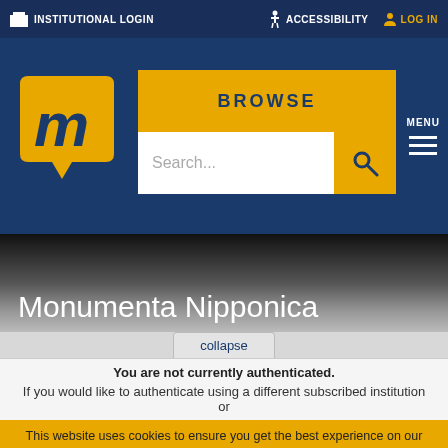INSTITUTIONAL LOGIN  ACCESSIBILITY  LOG IN
[Figure (screenshot): Website navigation bar with logo (m in speech bubble), BROWSE button in gold, search bar, and MENU button]
Monumenta Nipponica
collapse
You are not currently authenticated. If you would like to authenticate using a different subscribed institution or
This website uses cookies to ensure you get the best experience on our website. Without cookies your experience may not be seamless.
Accept